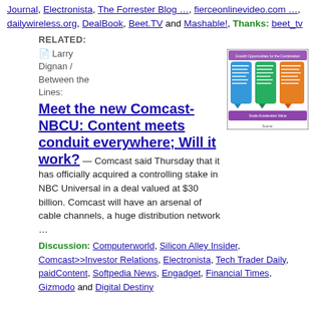Journal, Electronista, The Forrester Blog …, fierceonlinevideo.com …, dailywireless.org, DealBook, Beet.TV and Mashable!, Thanks: beet_tv
RELATED:
📄 Larry Dignan / Between the Lines: Meet the new Comcast-NBCU: Content meets conduit everywhere; Will it work? — Comcast said Thursday that it has officially acquired a controlling stake in NBC Universal in a deal valued at $30 billion. Comcast will have an arsenal of cable channels, a huge distribution network …
[Figure (infographic): Growth Opportunities for the Combination - infographic showing three colored columns (blue, green, orange) with bullet points and purple footer bar labeled 'Scale Accelerates Value']
Discussion: Computerworld, Silicon Alley Insider, Comcast>>Investor Relations, Electronista, Tech Trader Daily, paidContent, Softpedia News, Engadget, Financial Times, Gizmodo and Digital Destiny